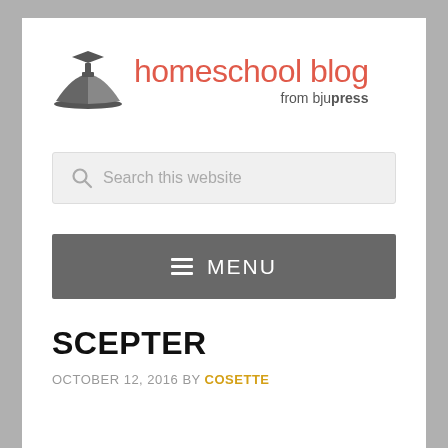[Figure (logo): BJU Press homeschool blog logo with a stylized open book and graduation cap icon in dark gray, next to red text reading 'homeschool blog' and gray subtitle 'from bju press']
Search this website
MENU
SCEPTER
OCTOBER 12, 2016 BY COSETTE